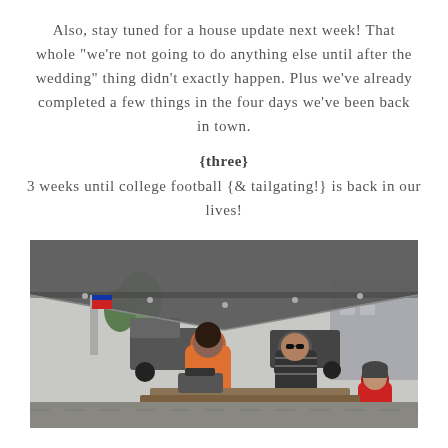Also, stay tuned for a house update next week! That whole "we're not going to do anything else until after the wedding" thing didn't exactly happen. Plus we've already completed a few things in the four days we've been back in town.
{three}
3 weeks until college football {& tailgating!} is back in our lives!
[Figure (photo): Outdoor tailgate scene under a large dark canopy/tent. People in orange and black shirts leaning over a table with food/grilling equipment. Trucks and buildings visible in the background.]